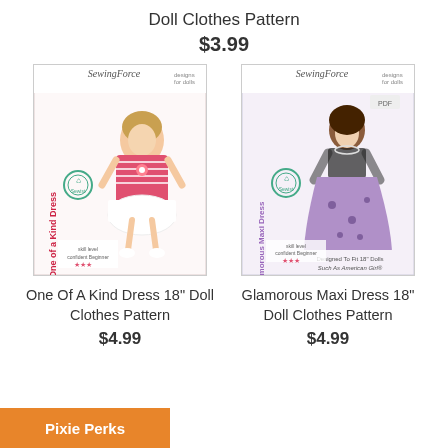Doll Clothes Pattern
$3.99
[Figure (illustration): SewingForce product cover for 'One of a Kind Dress' showing a doll in a pink/white dress]
[Figure (illustration): SewingForce product cover for 'Glamorous Maxi Dress' showing a doll in a purple maxi dress]
One Of A Kind Dress 18" Doll Clothes Pattern
$4.99
Glamorous Maxi Dress 18" Doll Clothes Pattern
$4.99
Pixie Perks